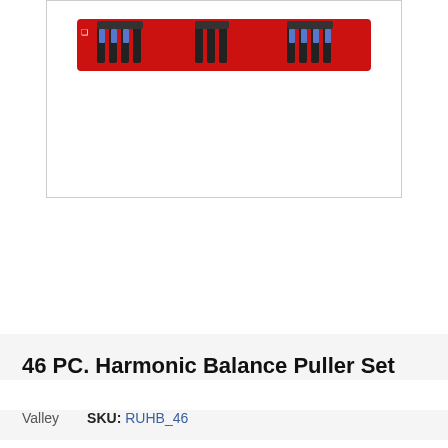[Figure (photo): Product image of 46 PC. Harmonic Balance Puller Set shown in a red tool tray with various components, displayed inside a white bordered box]
46 PC. Harmonic Balance Puller Set
Valley   SKU: RUHB_46